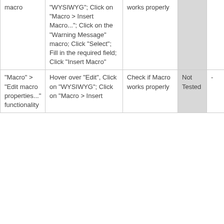| macro | "WYSIWYG"; Click on "Macro > Insert Macro..."; Click on the "Warning Message" macro; Click "Select"; Fill in the required field; Click "Insert Macro" | works properly | Not Tested | - |
| "Macro" > "Edit macro properties..." functionality | Hover over "Edit", Click on "WYSIWYG"; Click on "Macro > Insert | Check if Macro works properly | Not Tested | - |